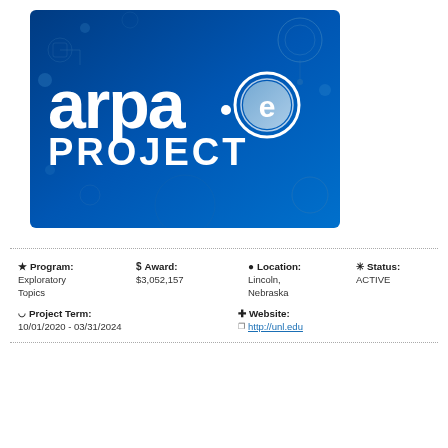[Figure (logo): ARPA-E PROJECT logo on a blue gradient background with circuit/bubble design elements. White text reads 'arpa·e' in rounded letters with a circular 'e' icon, and 'PROJECT' in bold white below.]
| ★ Program: | $ Award: | ⊙ Location: | ✳ Status: |
| Exploratory Topics | $3,052,157 | Lincoln, Nebraska | ACTIVE |
| ⊟ Project Term: |  | ⊕ Website: |  |
| 10/01/2020 - 03/31/2024 |  | http://unl.edu |  |